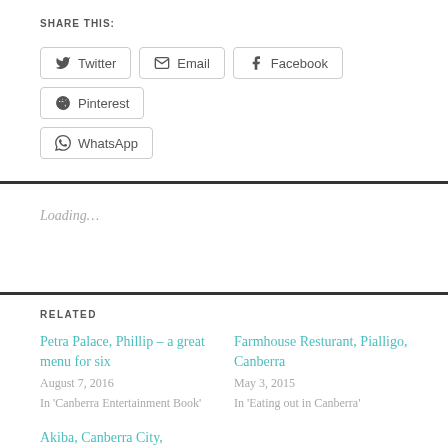SHARE THIS:
Twitter
Email
Facebook
Pinterest
WhatsApp
Loading...
RELATED
Petra Palace, Phillip – a great menu for six
August 7, 2016
In 'Canberra Entertainment Book'
Farmhouse Resturant, Pialligo, Canberra
May 3, 2015
In 'Eating out in Canberra'
Akiba, Canberra City, weekend Yum Cha